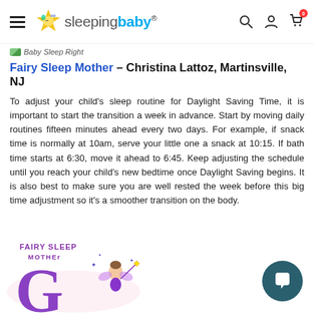sleepingbaby® — navigation bar with hamburger menu, logo, search, account, cart (0)
Baby Sleep Right
Fairy Sleep Mother – Christina Lattoz, Martinsville, NJ
To adjust your child's sleep routine for Daylight Saving Time, it is important to start the transition a week in advance. Start by moving daily routines fifteen minutes ahead every two days. For example, if snack time is normally at 10am, serve your little one a snack at 10:15. If bath time starts at 6:30, move it ahead to 6:45. Keep adjusting the schedule until you reach your child's new bedtime once Daylight Saving begins. It is also best to make sure you are well rested the week before this big time adjustment so it's a smoother transition on the body.
[Figure (logo): Fairy Sleep Mother logo with fairy illustration and text 'FAIRY SLEEP MOTHER' in circular style with purple letter G]
[Figure (illustration): Dark teal circular chat button icon]